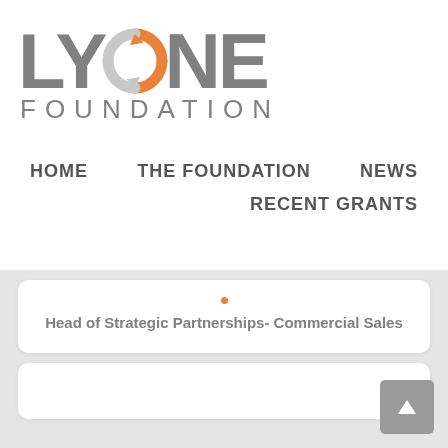[Figure (logo): LYONE Foundation logo with orange circular arrow icon between LY and NE text, with FOUNDATION text below]
HOME
THE FOUNDATION
NEWS
RECENT GRANTS
Head of Strategic Partnerships- Commercial Sales